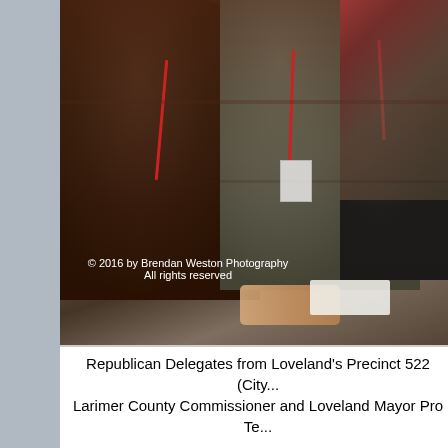[Figure (photo): Republican delegates seated in rows, wearing red lanyards and name badges, at what appears to be a caucus or convention event. Photo watermarked with copyright notice by Brendan Weston Photography.]
Republican Delegates from Loveland's Precinct 522 (City... Larimer County Commissioner and Loveland Mayor Pro Te...